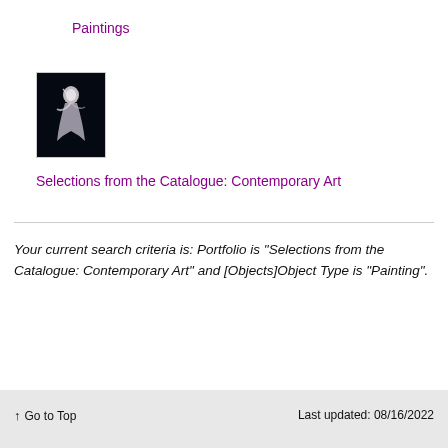Paintings
[Figure (photo): Small thumbnail image of a figure/dancer against a dark background, appearing to be a painting or artwork.]
Selections from the Catalogue: Contemporary Art
Your current search criteria is: Portfolio is "Selections from the Catalogue: Contemporary Art" and [Objects]Object Type is "Painting".
↑ Go to Top    Last updated: 08/16/2022